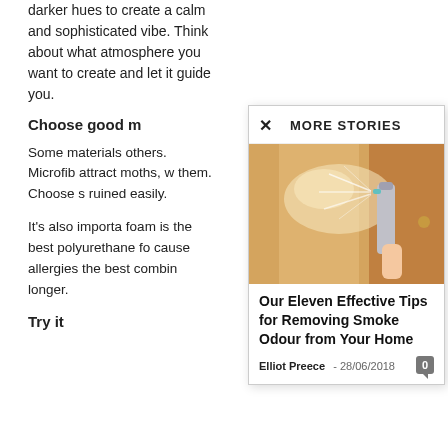darker hues to create a calm and sophisticated vibe. Think about what atmosphere you want to create and let it guide you.
Choose good m
Some materials others. Microfib attract moths, w them. Choose s ruined easily.
It's also importa foam is the best polyurethane fo cause allergies the best combin longer.
Try it
[Figure (screenshot): MORE STORIES modal overlay showing article 'Our Eleven Effective Tips for Removing Smoke Odour from Your Home' by Elliot Preece, 28/06/2018, with a photo of a hand spraying aerosol at a wooden door.]